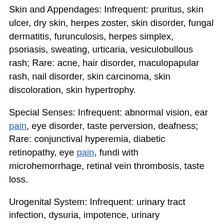Skin and Appendages: Infrequent: pruritus, skin ulcer, dry skin, herpes zoster, skin disorder, fungal dermatitis, furunculosis, herpes simplex, psoriasis, sweating, urticaria, vesiculobullous rash; Rare: acne, hair disorder, maculopapular rash, nail disorder, skin carcinoma, skin discoloration, skin hypertrophy.
Special Senses: Infrequent: abnormal vision, ear pain, eye disorder, taste perversion, deafness; Rare: conjunctival hyperemia, diabetic retinopathy, eye pain, fundi with microhemorrhage, retinal vein thrombosis, taste loss.
Urogenital System: Infrequent: urinary tract infection, dysuria, impotence, urinary incontinence, vaginal moniliasis, breast pain, menstrual disorder, polyuria, urinary retention; Rare: cystitis, ejaculation abnormal, swollen penis, gynecomastia, nocturia, pyelonephritis, swollen scrotum, urinary frequency, urinary urgency, urine